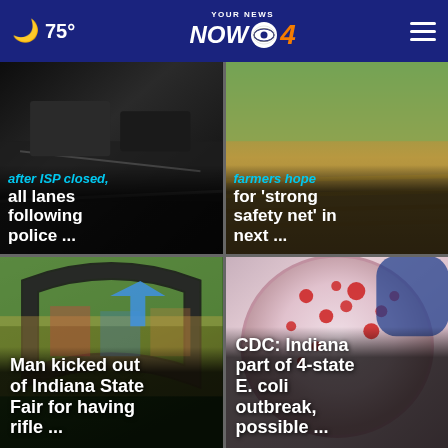75° YOUR NEWS NOW CBS 4
[Figure (photo): Dark road scene with police activity, partially visible headline text 'after ISP closed, all lanes following police ...']
[Figure (photo): Golden farm field scene with partially visible headline text 'farmers hope for ‘strong safety net’ in next ...']
[Figure (photo): State Fair midway entrance arch with headline 'Man kicked out of Indiana State Fair for having rifle ...']
[Figure (photo): Petri dish with red bacterial colonies with headline 'CDC: Indiana part of 4-state E. coli outbreak, possible ...']